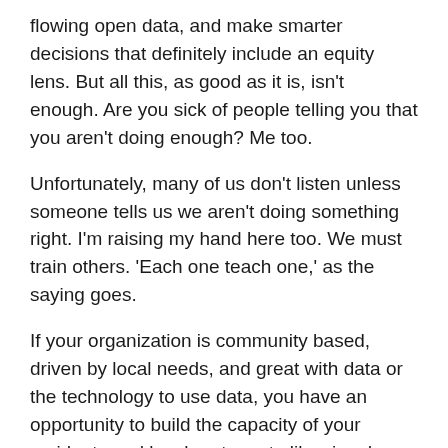flowing open data, and make smarter decisions that definitely include an equity lens. But all this, as good as it is, isn't enough. Are you sick of people telling you that you aren't doing enough? Me too.
Unfortunately, many of us don't listen unless someone tells us we aren't doing something right. I'm raising my hand here too. We must train others. 'Each one teach one,' as the saying goes.
If your organization is community based, driven by local needs, and great with data or the technology to use data, you have an opportunity to build the capacity of your residents and local partners to likewise do good things with data. If you work for a government agency that uses data to plan or evaluate, you should find ways to build the data literacy of your constituents so they can understand your decisions, advocate using data, and not have to rely on others to help them do this. If you work at a university think tank, you must recognize the power differential you have over regular residents. Training is both a way to bridge the power divide and bump up